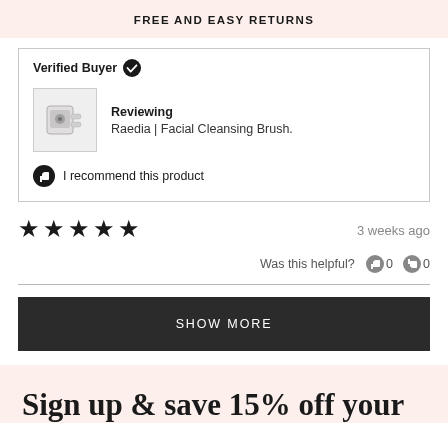FREE AND EASY RETURNS
Verified Buyer
Reviewing
Raedia | Facial Cleansing Brush.
I recommend this product
[Figure (other): Five filled stars rating]
3 weeks ago
Was this helpful?  👍 0  👎 0
SHOW MORE
Sign up & save 15% off your